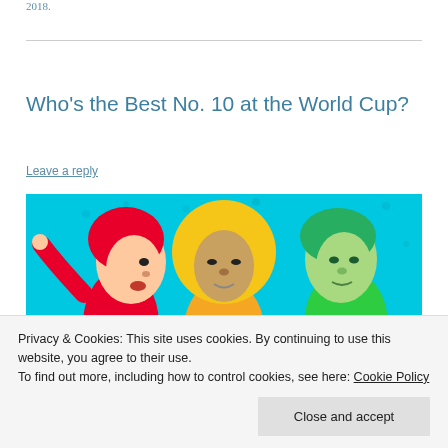2018.
Who's the Best No. 10 at the World Cup?
Leave a reply
[Figure (illustration): Colorful stylized illustration on cyan/blue background showing three football players with red, yellow, and green color treatments against a bright blue background with polka dots]
Privacy & Cookies: This site uses cookies. By continuing to use this website, you agree to their use.
To find out more, including how to control cookies, see here: Cookie Policy
Close and accept